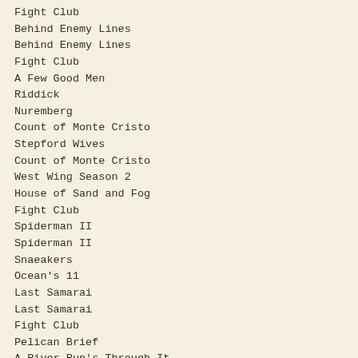Fight Club
Behind Enemy Lines
Behind Enemy Lines
Fight Club
A Few Good Men
Riddick
Nuremberg
Count of Monte Cristo
Stepford Wives
Count of Monte Cristo
West Wing Season 2
House of Sand and Fog
Fight Club
Spiderman II
Spiderman II
Snaeakers
Ocean's 11
Last Samarai
Last Samarai
Fight Club
Pelican Brief
A River Run's Through It